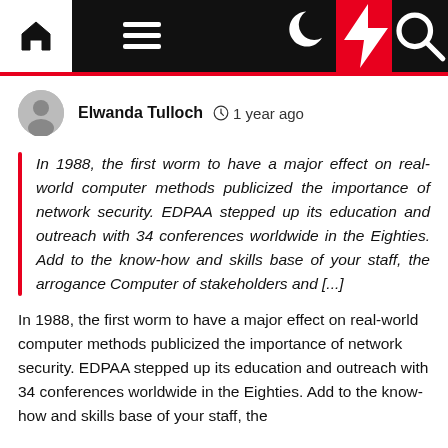[Figure (screenshot): Website navigation bar with home icon, hamburger menu, dark mode toggle, lightning bolt (red background), and search icon on dark background]
Elwanda Tulloch  ⊙ 1 year ago
In 1988, the first worm to have a major effect on real-world computer methods publicized the importance of network security. EDPAA stepped up its education and outreach with 34 conferences worldwide in the Eighties. Add to the know-how and skills base of your staff, the arrogance Computer of stakeholders and [...]
In 1988, the first worm to have a major effect on real-world computer methods publicized the importance of network security. EDPAA stepped up its education and outreach with 34 conferences worldwide in the Eighties. Add to the know-how and skills base of your staff, the